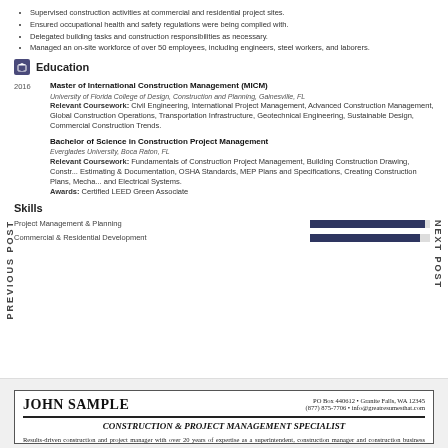Supervised construction activities at commercial and residential project sites.
Ensured occupational health and safety regulations were being complied with.
Delegated building tasks and construction responsibilities as necessary.
Managed an on-site workforce of over 50 employees, including engineers, steel workers, and laborers.
Education
2016 Master of International Construction Management (MICM) University of Florida College of Design, Construction and Planning, Gainesville, FL. Relevant Coursework: Civil Engineering, International Project Management, Advanced Construction Management, Global Construction Operations, Transportation Infrastructure, Geotechnical Engineering, Sustainable Design, Commercial Construction Trends.
Bachelor of Science in Construction Project Management Everglades University, Boca Raton, FL. Relevant Coursework: Fundamentals of Construction Project Management, Building Construction Drawing, Construction Estimating & Documentation, OSHA Standards, MEP Plans and Specifications, Creating Construction Plans, Mechanical and Electrical Systems. Awards: Certified LEED Green Associate
Skills
Project Management & Planning
Commercial & Residential Development
PREVIOUS POST
NEXT POST
Construction Project Manager Resume Example Template Ne...
ct Manager Resume Manager Resume Resume Example...
JOHN SAMPLE
PO Box 440612 • Granite Falls, WA 12345 (877) 875-7706 • info@greatresumesthat.com
CONSTRUCTION & PROJECT MANAGEMENT SPECIALIST
Results-driven construction and project manager with over 20 years of expertise as a superintendent, construction manager and construction business owner. History of concurrently directing multiple projects to successful completion through effective management and team collaboration. Continually strives to produce high quality homes while